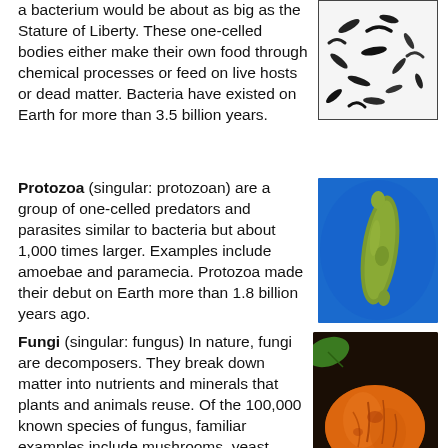a bacterium would be about as big as the Stature of Liberty. These one-celled bodies either make their own food through chemical processes or feed on live hosts or dead matter. Bacteria have existed on Earth for more than 3.5 billion years.
[Figure (photo): Microscopy image of bacteria — dark rod and curved shapes on white background]
Protozoa (singular: protozoan) are a group of one-celled predators and parasites similar to bacteria but about 1,000 times larger. Examples include amoebae and paramecia. Protozoa made their debut on Earth more than 1.8 billion years ago.
[Figure (photo): Microscopy photo of a protozoan (elongated green organism) on a blue background]
Fungi (singular: fungus) In nature, fungi are decomposers. They break down matter into nutrients and minerals that plants and animals reuse. Of the 100,000 known species of fungus, familiar examples include mushrooms, yeast, mold and mildew.
[Figure (photo): Close-up photo of an orange fungus (mushroom) on dark forest floor with green leaf visible]